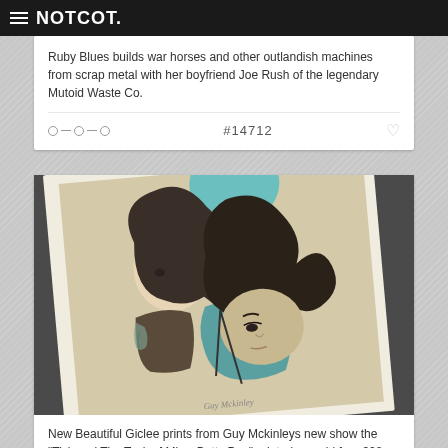NOTCOT.
Ruby Blues builds war horses and other outlandish machines from scrap metal with her boyfriend Joe Rush of the legendary Mutoid Waste Co.
#14712
[Figure (illustration): Illustrated art print showing two anime-style characters with long dark flowing hair, one wearing a teal/turquoise top, against a beige background. The print is shown at an angle on a dark surface.]
New Beautiful Giclee prints from Guy Mckinleys new show the "Tick and The Tock of Miss. Betty Pea" printed on acid free 308 gsm Hahnemuhle photo rag with printed using archival inks.